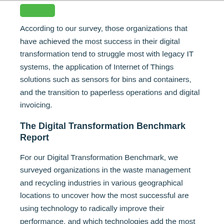[Figure (other): Green rounded rectangle badge/button at top left]
According to our survey, those organizations that have achieved the most success in their digital transformation tend to struggle most with legacy IT systems, the application of Internet of Things solutions such as sensors for bins and containers, and the transition to paperless operations and digital invoicing.
The Digital Transformation Benchmark Report
For our Digital Transformation Benchmark, we surveyed organizations in the waste management and recycling industries in various geographical locations to uncover how the most successful are using technology to radically improve their performance, and which technologies add the most value for efficiency and productivity in their day-to-day operations.
The survey asked these key questions: